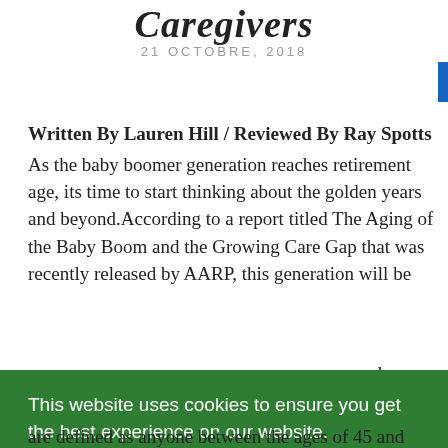Caregivers
21 OCTOBRE, 2018
Written By Lauren Hill / Reviewed By Ray Spotts
As the baby boomer generation reaches retirement age, its time to start thinking about the golden years and beyond.According to a report titled The Aging of the Baby Boom and the Growing Care Gap that was recently released by AARP, this generation will be ...el in ...is ...have ...lable ...by ...t, ...who
This website uses cookies to ensure you get the best experience on our website.
Learn More
Back to the top
Got it!
are defined as anyone between the ages of 45 and